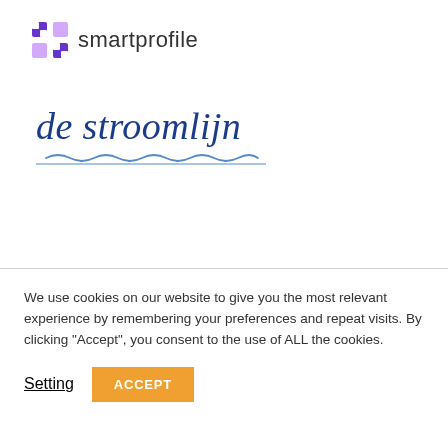[Figure (logo): smartprofile logo: purple grid/puzzle icon followed by the text 'smartprofile' in grey sans-serif]
[Figure (logo): de stroomlijn brand logo in dark blue italic serif font with a wavy blue underline decoration]
We use cookies on our website to give you the most relevant experience by remembering your preferences and repeat visits. By clicking "Accept", you consent to the use of ALL the cookies.
Setting   ACCEPT